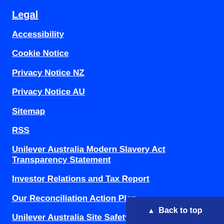Legal
Accessibility
Cookie Notice
Privacy Notice NZ
Privacy Notice AU
Sitemap
RSS
Unilever Australia Modern Slavery Act Transparency Statement
Investor Relations and Tax Report
Our Reconciliation Action Plan
Unilever Australia Site Safety
Corporate Information
▲ Back to top